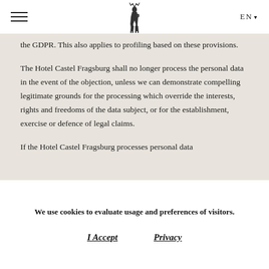EN ▾
the GDPR. This also applies to profiling based on these provisions.
The Hotel Castel Fragsburg shall no longer process the personal data in the event of the objection, unless we can demonstrate compelling legitimate grounds for the processing which override the interests, rights and freedoms of the data subject, or for the establishment, exercise or defence of legal claims.
If the Hotel Castel Fragsburg processes personal data
We use cookies to evaluate usage and preferences of visitors.
I Accept
Privacy